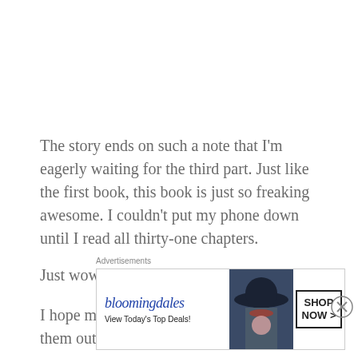The story ends on such a note that I'm eagerly waiting for the third part. Just like the first book, this book is just so freaking awesome. I couldn't put my phone down until I read all thirty-one chapters.
Just wow!
I hope my books are the same. Check them out on
Advertisements
[Figure (other): Bloomingdale's advertisement banner showing logo, 'View Today's Top Deals!' text, a woman with a wide-brim hat, and a 'SHOP NOW >' button]